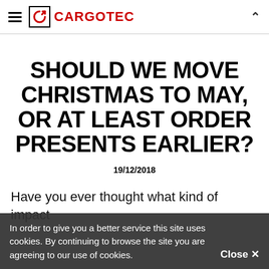CARGOTEC
SHOULD WE MOVE CHRISTMAS TO MAY, OR AT LEAST ORDER PRESENTS EARLIER?
19/12/2018
Have you ever thought what kind of impact
In order to give you a better service this site uses cookies. By continuing to browse the site you are agreeing to our use of cookies.